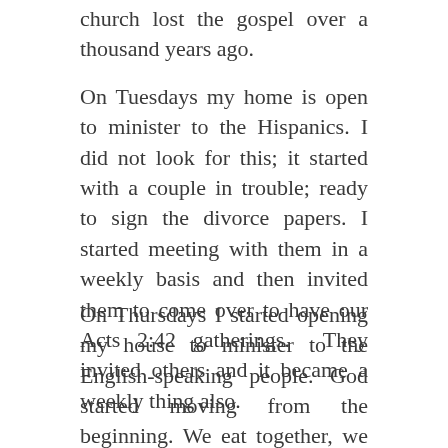church lost the gospel over a thousand years ago.
On Tuesdays my home is open to minister to the Hispanics. I did not look for this; it started with a couple in trouble; ready to sign the divorce papers. I started meeting with them in a weekly basis and then invited them to come over to have our Acts 2:42 gatherings.  They invited others and it became a weekly thing also.
On Thursdays I started opening my house to minister to the English-speaking people. God started moving from the beginning. We eat together, we fellowship, we sing together, and we dig into God's Word. My disciples ask